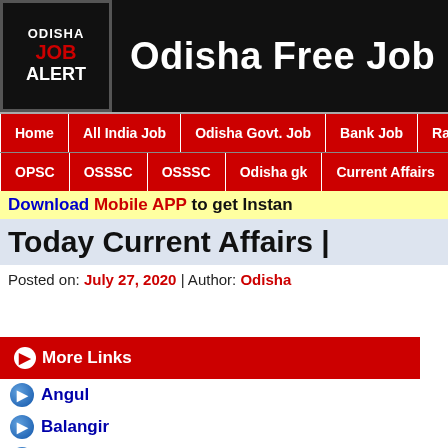Odisha Free Job
Home | All India Job | Odisha Govt. Job | Bank Job | Railway Job
OPSC | OSSSC | OSSSC | Odisha gk | Current Affairs | Computer
Download Mobile APP to get Instant
Today Current Affairs |
Posted on: July 27, 2020 | Author: Odisha
More Links
Angul
Balangir
Baleswar
Bargarh
Bhadrak
Boudh